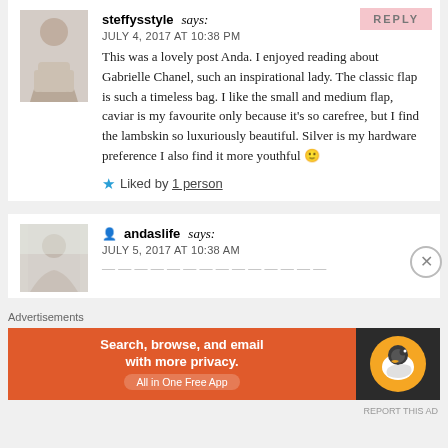steffysstyle says:
JULY 4, 2017 AT 10:38 PM
This was a lovely post Anda. I enjoyed reading about Gabrielle Chanel, such an inspirational lady. The classic flap is such a timeless bag. I like the small and medium flap, caviar is my favourite only because it's so carefree, but I find the lambskin so luxuriously beautiful. Silver is my hardware preference I also find it more youthful 🙂
★ Liked by 1 person
andaslife says:
JULY 5, 2017 AT 10:38 AM
[Figure (screenshot): DuckDuckGo advertisement banner: Search, browse, and email with more privacy. All in One Free App.]
Advertisements